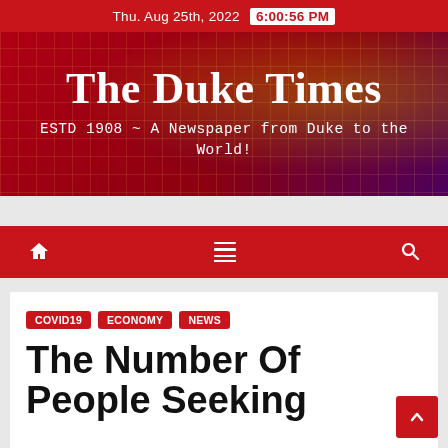Thu. Aug 25th, 2022  6:00:56 PM
The Duke Times
ESTD 1908 ~ A Newspaper from Duke to the World!
COVID19  ECONOMY  NEWS
The Number Of People Seeking